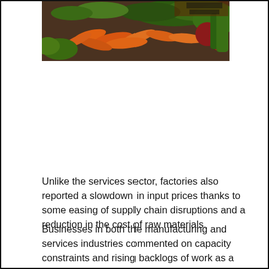[Figure (photo): A market stall displaying fresh vegetables including carrots and other produce]
Unlike the services sector, factories also reported a slowdown in input prices thanks to some easing of supply chain disruptions and a reduction in the cost of raw materials.
Businesses in both the manufacturing and services industries commented on capacity constraints and rising backlogs of work as a result of staff absences due to the pandemic, according to the report.